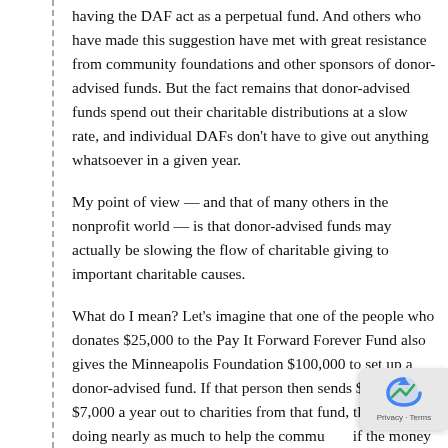having the DAF act as a perpetual fund. And others who have made this suggestion have met with great resistance from community foundations and other sponsors of donor-advised funds. But the fact remains that donor-advised funds spend out their charitable distributions at a slow rate, and individual DAFs don't have to give out anything whatsoever in a given year.
My point of view — and that of many others in the nonprofit world — is that donor-advised funds may actually be slowing the flow of charitable giving to important charitable causes.
What do I mean? Let's imagine that one of the people who donates $25,000 to the Pay It Forward Forever Fund also gives the Minneapolis Foundation $100,000 to set up a donor-advised fund. If that person then sends $5,000 or $7,000 a year out to charities from that fund, that's not doing nearly as much to help the community if the money had been given directly in the first year to Minneapolis charities, or if the money were spent out fully over a few years.